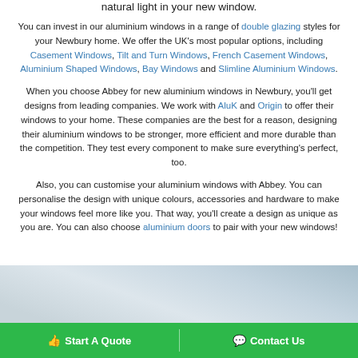natural light in your new window.
You can invest in our aluminium windows in a range of double glazing styles for your Newbury home. We offer the UK’s most popular options, including Casement Windows, Tilt and Turn Windows, French Casement Windows, Aluminium Shaped Windows, Bay Windows and Slimline Aluminium Windows.
When you choose Abbey for new aluminium windows in Newbury, you’ll get designs from leading companies. We work with AluK and Origin to offer their windows to your home. These companies are the best for a reason, designing their aluminium windows to be stronger, more efficient and more durable than the competition. They test every component to make sure everything’s perfect, too.
Also, you can customise your aluminium windows with Abbey. You can personalise the design with unique colours, accessories and hardware to make your windows feel more like you. That way, you’ll create a design as unique as you are. You can also choose aluminium doors to pair with your new windows!
[Figure (photo): Partial photograph visible at the bottom of the page, appears to show a sky or architectural element in grey-blue tones.]
Start A Quote  |  Contact Us